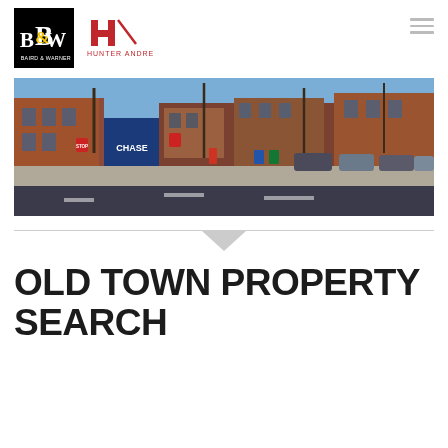Baird & Warner / Hunter Andre logo header with hamburger menu
[Figure (photo): Panoramic street-level photo of Old Town Chicago neighborhood: red brick buildings, Chase bank signage, stop signs, parked cars, bare winter trees, wide intersection]
[Figure (other): Horizontal divider line with downward-pointing triangle/chevron arrow]
OLD TOWN PROPERTY SEARCH